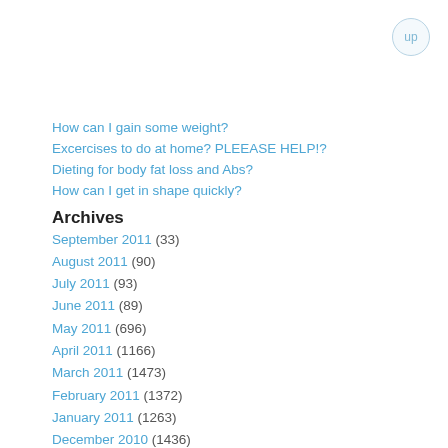How can I gain some weight?
Excercises to do at home? PLEEASE HELP!?
Dieting for body fat loss and Abs?
How can I get in shape quickly?
Archives
September 2011 (33)
August 2011 (90)
July 2011 (93)
June 2011 (89)
May 2011 (696)
April 2011 (1166)
March 2011 (1473)
February 2011 (1372)
January 2011 (1263)
December 2010 (1436)
November 2010 (2381)
October 2010 (2663)
September 2010 (1861)
August 2010 (1894)
July 2010 (1422)